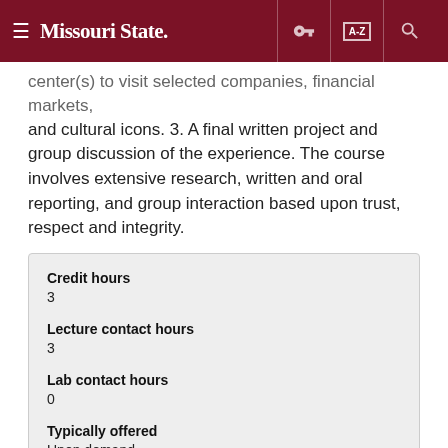Missouri State
center(s) to visit selected companies, financial markets, and cultural icons. 3. A final written project and group discussion of the experience. The course involves extensive research, written and oral reporting, and group interaction based upon trust, respect and integrity.
| Field | Value |
| --- | --- |
| Credit hours | 3 |
| Lecture contact hours | 3 |
| Lab contact hours | 0 |
| Typically offered | Upon demand |